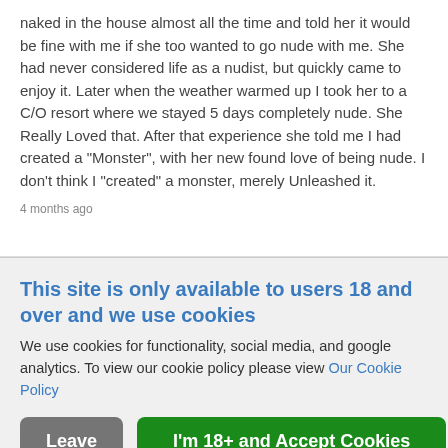naked in the house almost all the time and told her it would be fine with me if she too wanted to go nude with me. She had never considered life as a nudist, but quickly came to enjoy it. Later when the weather warmed up I took her to a C/O resort where we stayed 5 days completely nude. She Really Loved that. After that experience she told me I had created a "Monster", with her new found love of being nude. I don't think I "created" a monster, merely Unleashed it.
4 months ago
This site is only available to users 18 and over and we use cookies
We use cookies for functionality, social media, and google analytics. To view our cookie policy please view Our Cookie Policy